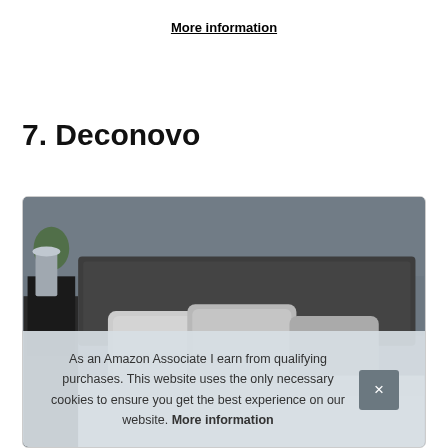More information
7. Deconovo
[Figure (photo): Product photo of a bedroom with gray headboard, white/gray pillows, and decorative items on a nightstand, partially covered by a cookie consent overlay]
As an Amazon Associate I earn from qualifying purchases. This website uses the only necessary cookies to ensure you get the best experience on our website. More information